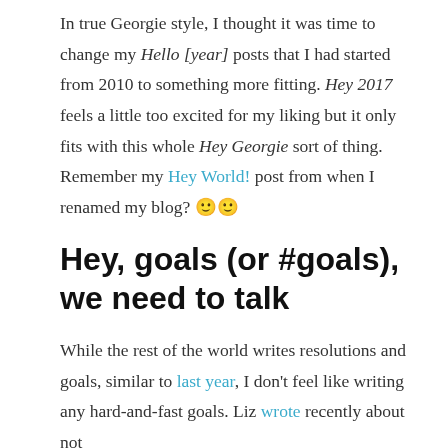In true Georgie style, I thought it was time to change my Hello [year] posts that I had started from 2010 to something more fitting. Hey 2017 feels a little too excited for my liking but it only fits with this whole Hey Georgie sort of thing. Remember my Hey World! post from when I renamed my blog? 🙂🙂
Hey, goals (or #goals), we need to talk
While the rest of the world writes resolutions and goals, similar to last year, I don't feel like writing any hard-and-fast goals. Liz wrote recently about not